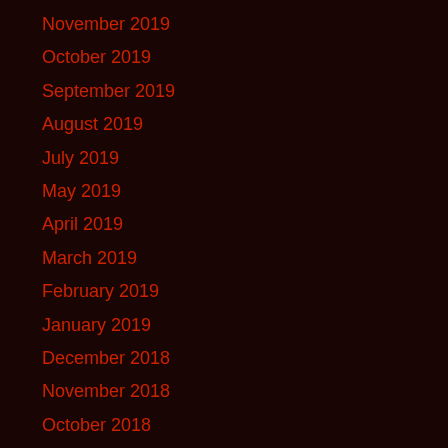November 2019
October 2019
September 2019
August 2019
July 2019
May 2019
April 2019
March 2019
February 2019
January 2019
December 2018
November 2018
October 2018
September 2018
August 2018